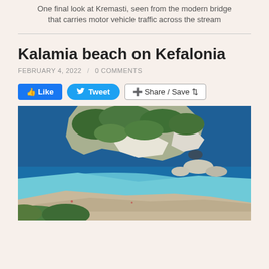One final look at Kremasti, seen from the modern bridge that carries motor vehicle traffic across the stream
Kalamia beach on Kefalonia
FEBRUARY 4, 2022 / 0 COMMENTS
[Figure (photo): Coastal beach scene at Kalamia beach on Kefalonia showing a curved sandy beach with turquoise and deep blue water, white limestone cliffs and rocky outcrops on the headland covered with green Mediterranean vegetation, viewed from an elevated perspective.]